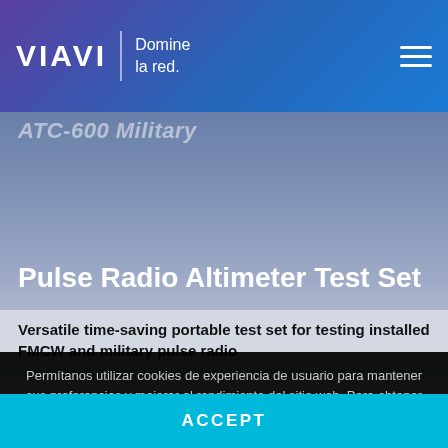VIAVI | Domine la red.
Pulse Radio Altimeter Test Set
Versatile time-saving portable test set for testing installed FMCW and military pulse radio
Permítanos utilizar cookies de experiencia de usuario para mantener sus preferencias y mejorar el rendimiento del sitio web. Para obtener más información, consulte nuestra Política de Privacidad o Preferencias de cookies
ACCEPT